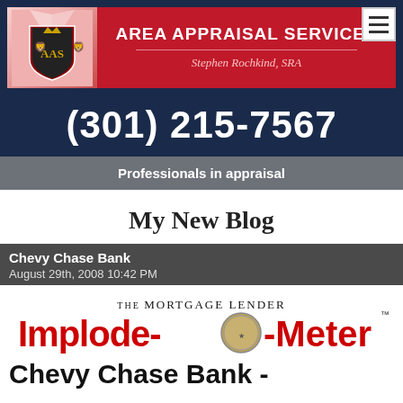[Figure (logo): Area Appraisal Services company logo banner with coat of arms emblem, company name, and person's name Stephen Rochkind, SRA]
(301) 215-7567
Professionals in appraisal
My New Blog
Chevy Chase Bank
August 29th, 2008 10:42 PM
[Figure (logo): The Mortgage Lender Implode-O-Meter logo in red and black text]
Chevy Chase Bank -